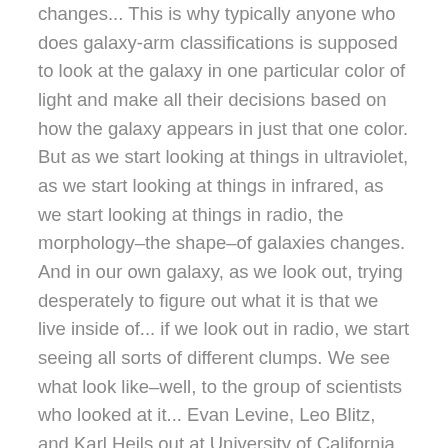changes... This is why typically anyone who does galaxy-arm classifications is supposed to look at the galaxy in one particular color of light and make all their decisions based on how the galaxy appears in just that one color. But as we start looking at things in ultraviolet, as we start looking at things in infrared, as we start looking at things in radio, the morphology–the shape–of galaxies changes. And in our own galaxy, as we look out, trying desperately to figure out what it is that we live inside of... if we look out in radio, we start seeing all sorts of different clumps. We see what look like–well, to the group of scientists who looked at it... Evan Levine, Leo Blitz, and Karl Heils out at University of California Berkeley... they saw in radio what looked like four different arms winding away. And then at the same time, you instead look at the galaxy in star counts... if you look at it using the Sloan Digital Sky Survey, we reduce our galaxy to a bar with 2 distinct